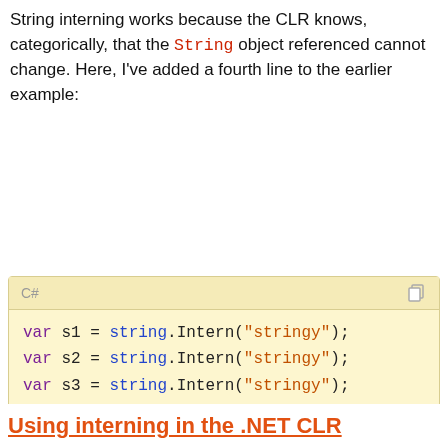String interning works because the CLR knows, categorically, that the String object referenced cannot change. Here, I've added a fourth line to the earlier example:
[Figure (screenshot): Code block with C# label showing three lines: var s1 = string.Intern("stringy"); var s2 = string.Intern("stringy"); var s3 = string.Intern("stringy"); on a pale yellow background]
Cookie consent overlay: Like every other website we use cookies. By using our site you acknowledge that you have read and understand our Cookie Policy, Privacy Policy, and our Terms of Service. Learn more. Buttons: Ask me later, Decline, Allow cookies
...ble; it now points ...string". ...opy that was
Using interning in the .NET CLR